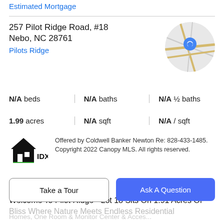Estimated Mortgage
257 Pilot Ridge Road, #18
Nebo, NC 28761
Pilots Ridge
[Figure (map): Circular map thumbnail showing road map with a blue location pin]
N/A beds | N/A baths | N/A ½ baths
1.99 acres | N/A sqft | N/A / sqft
Offered by Coldwell Banker Newton Re: 828-433-1485. Copyright 2022 Canopy MLS. All rights reserved.
Property Description
Welcome To Pilot Ridge - Lot 18 Sits On 1.91 Acres Of Bliss Where Nature Meets Endless Residential
Take a Tour
Ask A Question